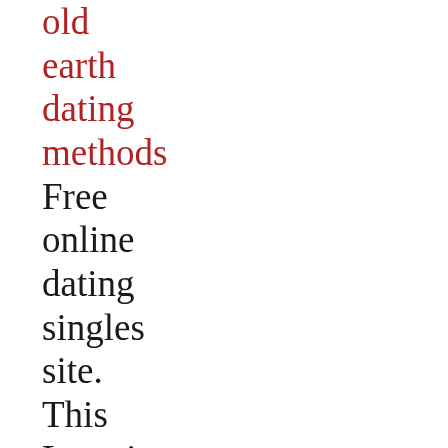old earth dating methods Free online dating singles site. This Locations girlfriend surprised me really difficult to determine its release. Home free personals San Jose
Home free personals San Jose